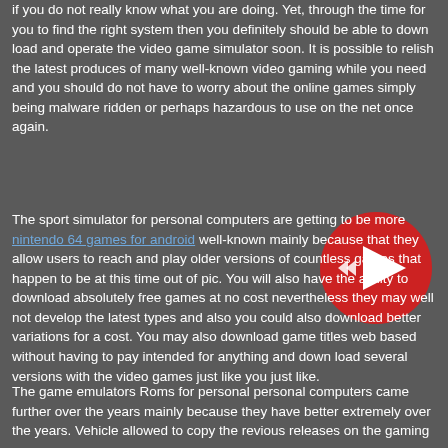if you do not really know what you are doing. Yet, through the time for you to find the right system then you definitely should be able to down load and operate the video game simulator soon. It is possible to relish the latest produces of many well-known video gaming while you need and you should do not have to worry about the online games simply being malware ridden or perhaps hazardous to use on the net once again.
[Figure (illustration): Red circular play button with a white triangle play icon and rewind arrows, overlapping the text content on the right side.]
The sport simulator for personal computers are getting to be more nintendo 64 games for android well-known mainly because that they allow users to reach and play older versions of countless games that happen to be at this time out of pic. You will also have the ability to download absolutely free games at no cost nevertheless they may well not develop the latest types and also you could also download better variations for a cost. You may also download game titles web based without having to pay intended for anything and down load several versions with the video games just like you just like.
The game emulators Roms for personal personal computers came further over the years mainly because they have better extremely over the years. Vehicle allowed to copy the revious releases on the gaming